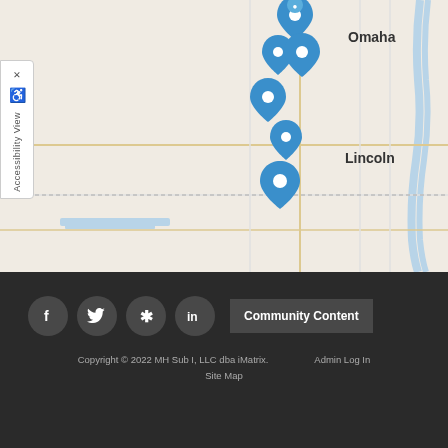[Figure (map): Interactive Leaflet map showing Nebraska region with Lincoln and Omaha labeled, with multiple blue location pin markers clustered in the Lincoln area. Road network visible with orange and gray roads. Accessibility View panel on the left side.]
Leaflet | Map data provided by Internet Brands
[Figure (infographic): Footer with social media icons (Facebook, Twitter, Yelp, LinkedIn) and Community Content button]
Copyright © 2022 MH Sub I, LLC dba iMatrix. Site Map Admin Log In